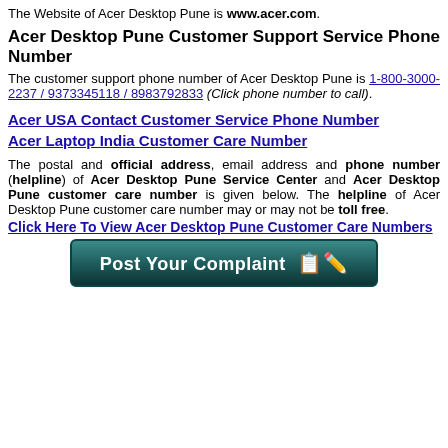The Website of Acer Desktop Pune is www.acer.com.
Acer Desktop Pune Customer Support Service Phone Number
The customer support phone number of Acer Desktop Pune is 1-800-3000-2237 / 9373345118 / 8983792833 (Click phone number to call).
Acer USA Contact Customer Service Phone Number
Acer Laptop India Customer Care Number
The postal and official address, email address and phone number (helpline) of Acer Desktop Pune Service Center and Acer Desktop Pune customer care number is given below. The helpline of Acer Desktop Pune customer care number may or may not be toll free.
Click Here To View Acer Desktop Pune Customer Care Numbers
[Figure (other): Post Your Complaint button - teal/dark green rounded rectangle button with white bold text and a notepad with pencil icon]